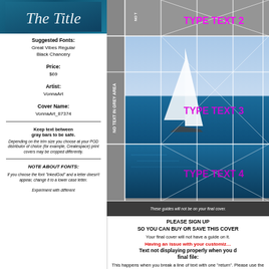[Figure (illustration): Decorative title banner with teal/dark blue background showing cursive text 'The Title']
Suggested Fonts:
Great Vibes Regular
Black Chancery
Price:
$69
Artist:
VonnaArt
Cover Name:
VonnaArt_87374
Keep text between gray bars to be safe.
Depending on the trim size you choose at your POD distributor of choice (for example, Createspace) print covers may be cropped differently.
NOTE ABOUT FONTS:
If you choose the font "InkedGod" and a letter doesn't appear, change it to a lower case letter.

Experiment with different
[Figure (illustration): Book cover preview showing a sailboat on water with grid guides overlaid and text placeholders: TYPE TEXT 2, TYPE TEXT 3, TYPE TEXT 4 in magenta. Grey areas on sides labeled 'NO TEXT IN GREY AREA'. Bottom note: These guides will not be on your final cover.]
PLEASE SIGN UP
SO YOU CAN BUY OR SAVE THIS COVER
Your final cover will not have a guide on it.
Having an issue with your customization?
Text not displaying properly when you download the final file:
This happens when you break a line of text with one "return". Please use the "SPACE BETWEEN TEXT" button to increase the space between your